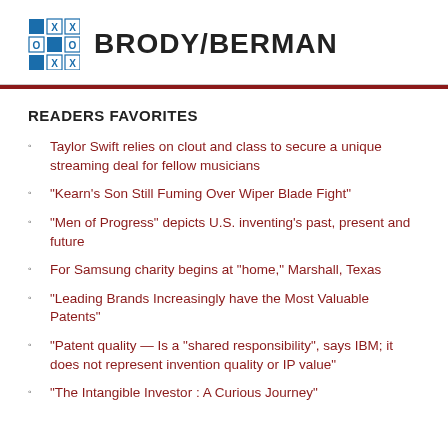[Figure (logo): Brody/Berman logo with a blue grid icon and the text BRODY/BERMAN in bold uppercase]
READERS FAVORITES
Taylor Swift relies on clout and class to secure a unique streaming deal for fellow musicians
“Kearn’s Son Still Fuming Over Wiper Blade Fight”
“Men of Progress” depicts U.S. inventing’s past, present and future
For Samsung charity begins at “home,” Marshall, Texas
“Leading Brands Increasingly have the Most Valuable Patents”
“Patent quality — Is a “shared responsibility”, says IBM; it does not represent invention quality or IP value”
“The Intangible Investor : A Curious Journey”